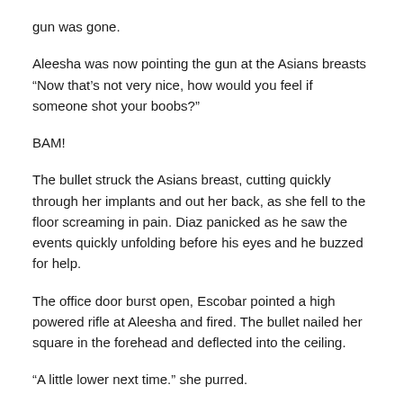gun was gone.
Aleesha was now pointing the gun at the Asians breasts "Now that's not very nice, how would you feel if someone shot your boobs?"
BAM!
The bullet struck the Asians breast, cutting quickly through her implants and out her back, as she fell to the floor screaming in pain. Diaz panicked as he saw the events quickly unfolding before his eyes and he buzzed for help.
The office door burst open, Escobar pointed a high powered rifle at Aleesha and fired. The bullet nailed her square in the forehead and deflected into the ceiling.
“A little lower next time.” she purred.